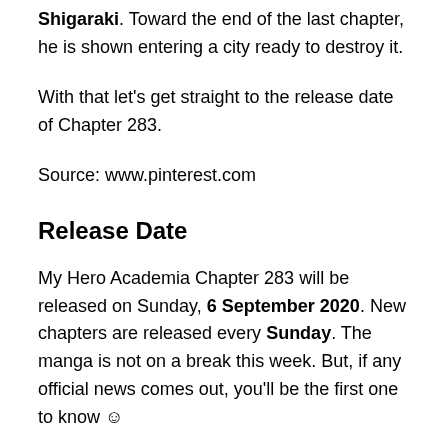Shigaraki. Toward the end of the last chapter, he is shown entering a city ready to destroy it.
With that let's get straight to the release date of Chapter 283.
Source: www.pinterest.com
Release Date
My Hero Academia Chapter 283 will be released on Sunday, 6 September 2020. New chapters are released every Sunday. The manga is not on a break this week. But, if any official news comes out, you'll be the first one to know ☺
We can expect chapter 283 to be released at midnight JST; meaning we can expect the English translations to be